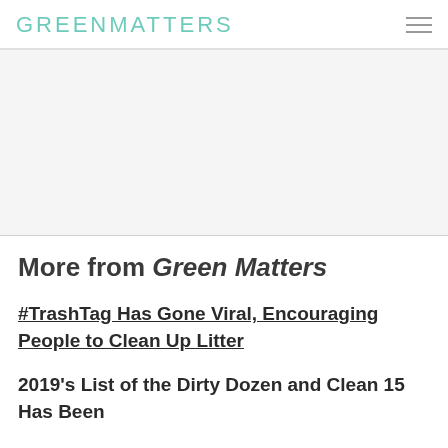GREENMATTERS
[Figure (other): Advertisement / blank white area]
More from Green Matters
#TrashTag Has Gone Viral, Encouraging People to Clean Up Litter
2019's List of the Dirty Dozen and Clean 15 Has Been